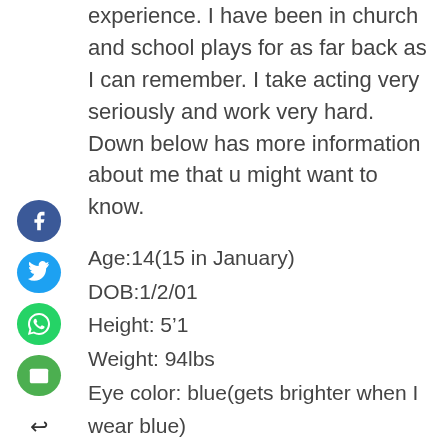experience. I have been in church and school plays for as far back as I can remember. I take acting very seriously and work very hard. Down below has more information about me that u might want to know.
Age:14(15 in January)
DOB:1/2/01
Height: 5'1
Weight: 94lbs
Eye color: blue(gets brighter when I wear blue)
Hair color: brown
Hair length: medium
Hair type: straight